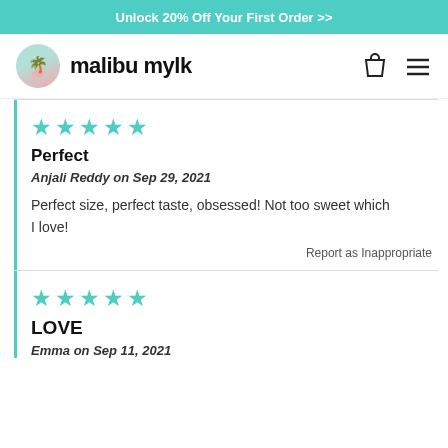Unlock 20% Off Your First Order >>
[Figure (logo): Malibu Mylk logo with palm tree icon and brand name]
★★★★★
Perfect
Anjali Reddy on Sep 29, 2021
Perfect size, perfect taste, obsessed! Not too sweet which I love!
Report as Inappropriate
★★★★★
LOVE
Emma on Sep 11, 2021